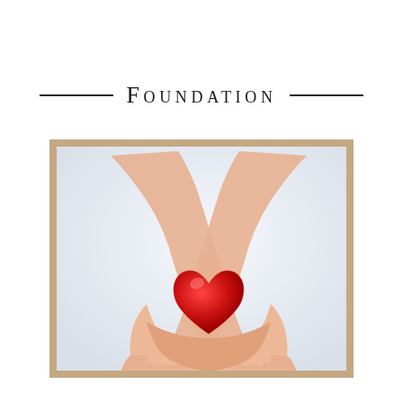Foundation
[Figure (photo): Two hands cupped together holding a red heart, viewed from above on a light blue-white background, inside a tan/beige border frame.]